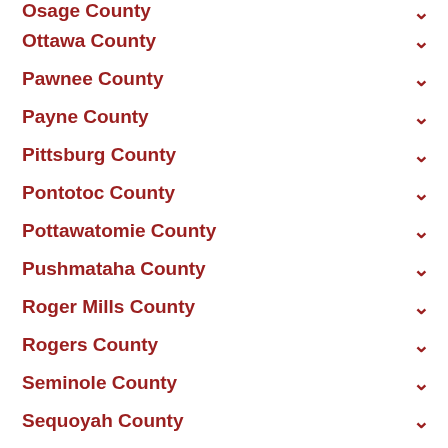Osage County
Ottawa County
Pawnee County
Payne County
Pittsburg County
Pontotoc County
Pottawatomie County
Pushmataha County
Roger Mills County
Rogers County
Seminole County
Sequoyah County
Stephens County